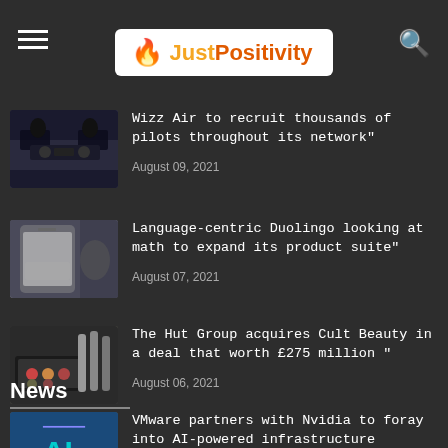JustPositivity
Wizz Air to recruit thousands of pilots throughout its network"
August 09, 2021
Language-centric Duolingo looking at math to expand its product suite"
August 07, 2021
The Hut Group acquires Cult Beauty in a deal that worth £275 million "
August 06, 2021
News
VMware partners with Nvidia to foray into AI-powered infrastructure
February 16, 2022